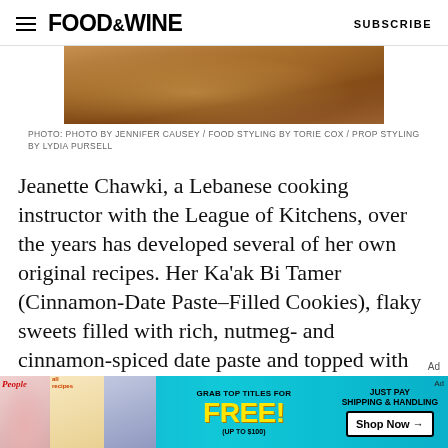FOOD&WINE   SUBSCRIBE
[Figure (photo): Close-up photo of Ka'ak Bi Tamer cookies showing golden-brown pastries with seeds on top]
PHOTO: PHOTO BY JENNIFER CAUSEY / FOOD STYLING BY TORIE COX / PROP STYLING BY LYDIA PURSELL
Jeanette Chawki, a Lebanese cooking instructor with the League of Kitchens, over the years has developed several of her own original recipes. Her Ka'ak Bi Tamer (Cinnamon-Date Paste–Filled Cookies), flaky sweets filled with rich, nutmeg- and cinnamon-spiced date paste and topped with nigella seeds (normally found in savory goods), were inspired by a trip to her local Middle Eastern
[Figure (screenshot): Advertisement banner: Grab top titles for FREE! (Up to $100) Just pay shipping & handling. Shop Now. Features People and allrecipes magazine covers.]